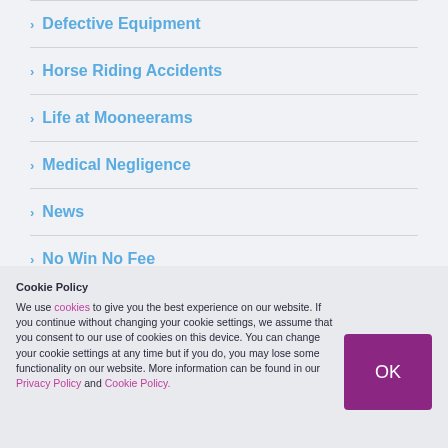Defective Equipment
Horse Riding Accidents
Life at Mooneerams
Medical Negligence
News
No Win No Fee
Cookie Policy
We use cookies to give you the best experience on our website. If you continue without changing your cookie settings, we assume that you consent to our use of cookies on this device. You can change your cookie settings at any time but if you do, you may lose some functionality on our website. More information can be found in our Privacy Policy and Cookie Policy.